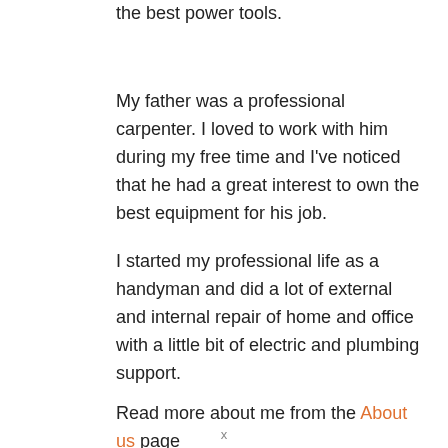the best power tools.
My father was a professional carpenter. I loved to work with him during my free time and I've noticed that he had a great interest to own the best equipment for his job.
I started my professional life as a handyman and did a lot of external and internal repair of home and office with a little bit of electric and plumbing support.
Read more about me from the About us page